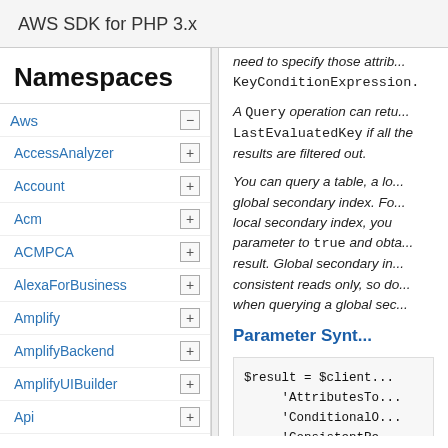AWS SDK for PHP 3.x
Namespaces
Aws
AccessAnalyzer
Account
Acm
ACMPCA
AlexaForBusiness
Amplify
AmplifyBackend
AmplifyUIBuilder
Api
ApiGateway
ApiGatewayManagementApi
need to specify those attrib... KeyConditionExpression.
A Query operation can retu... LastEvaluatedKey if all the results are filtered out.
You can query a table, a lo... global secondary index. Fo... local secondary index, you parameter to true and obta... result. Global secondary in... consistent reads only, so do... when querying a global sec...
Parameter Synt...
$result = $client...
     'AttributesTo...
     'ConditionalO...
     'ConsistentRe...
     'ExclusiveSt...